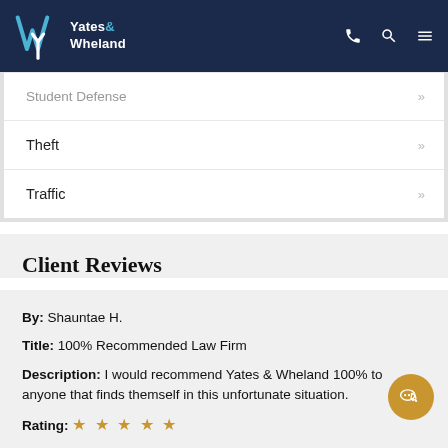Yates & Wheland
Student Defense »
Theft »
Traffic »
Client Reviews
By: Shauntae H.
Title: 100% Recommended Law Firm
Description: I would recommend Yates & Wheland 100% to anyone that finds themself in this unfortunate situation.
Rating: ★★★★★